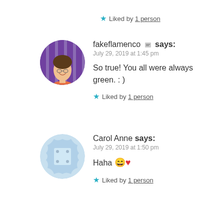★ Liked by 1 person
fakeflamenco 🖼 says:
July 29, 2019 at 1:45 pm

So true! You all were always green. : )
★ Liked by 1 person
Carol Anne says:
July 29, 2019 at 1:50 pm

Haha 😄❤
★ Liked by 1 person